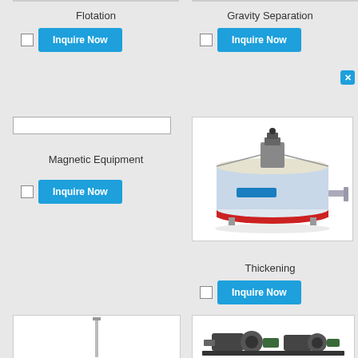Flotation
Inquire Now
Gravity Separation
Inquire Now
Magnetic Equipment
Inquire Now
[Figure (photo): Industrial thickener/circular clarifier machine with mechanical drive on top, cylindrical white drum with red base ring]
Thickening
Inquire Now
[Figure (photo): Vertical pole/rod equipment, partially visible]
[Figure (photo): Industrial pump or motor unit on base, partially visible]